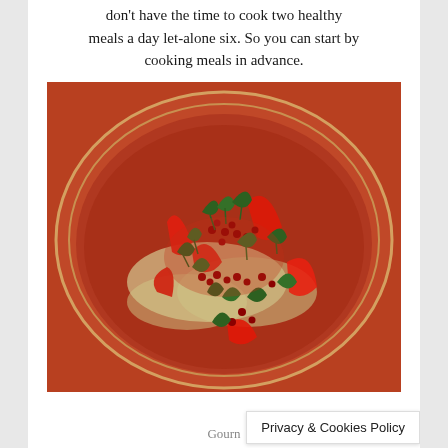don't have the time to cook two healthy meals a day let-alone six. So you can start by cooking meals in advance.
[Figure (photo): A terracotta/brown ceramic plate filled with a colorful salad featuring red bell peppers, pomegranate seeds, fresh green parsley leaves, and other vegetables on a brown rimmed plate.]
Gourn
Privacy & Cookies Policy